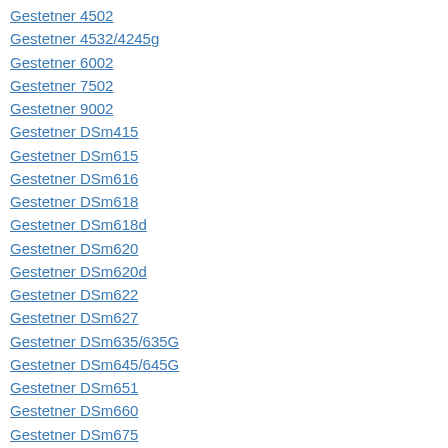Gestetner 4502
Gestetner 4532/4245g
Gestetner 6002
Gestetner 7502
Gestetner 9002
Gestetner DSm415
Gestetner DSm615
Gestetner DSm616
Gestetner DSm618
Gestetner DSm618d
Gestetner DSm620
Gestetner DSm620d
Gestetner DSm622
Gestetner DSm627
Gestetner DSm635/635G
Gestetner DSm645/645G
Gestetner DSm651
Gestetner DSm660
Gestetner DSm675
Gestetner DSm725
Gestetner DSm730
Gestetner DSm735/735G
Gestetner DSm745/745G
Gestetner MP 161/DSm416
Gestetner MP 2510/DSm725e
Gestetner MP 2550